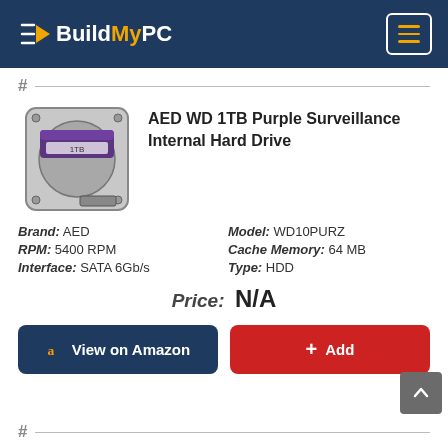BuildMyPC
#
[Figure (photo): WD 1TB Purple Surveillance Internal Hard Drive product photo]
AED WD 1TB Purple Surveillance Internal Hard Drive
Brand: AED   Model: WD10PURZ   RPM: 5400 RPM   Cache Memory: 64 MB   Interface: SATA 6Gb/s   Type: HDD
Price: N/A
a View on Amazon   + Add
#